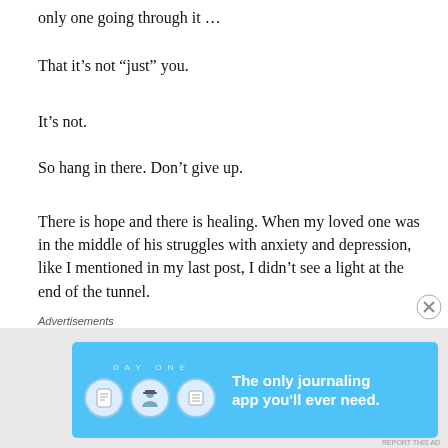only one going through it …
That it's not “just” you.
It’s not.
So hang in there. Don’t give up.
There is hope and there is healing. When my loved one was in the middle of his struggles with anxiety and depression, like I mentioned in my last post, I didn’t see a light at the end of the tunnel.
Even after he was pulling out of it, I worried that something would bring him right back down.
Advertisements
[Figure (infographic): DAY ONE journaling app advertisement. Blue banner with app icons and text: 'The only journaling app you'll ever need.']